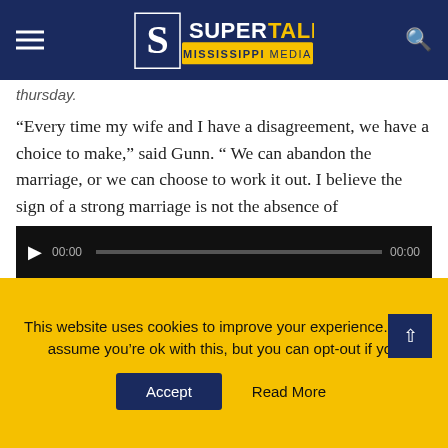SuperTalk Mississippi Media
thursday.
“Every time my wife and I have a disagreement, we have a choice to make,” said Gunn. “ We can abandon the marriage, or we can choose to work it out. I believe the sign of a strong marriage is not the absence of disagreement, but that you have the ability to reconcile. The same holds true for a political party.”
Gunn started his speech by saying the rift was the “white elephant in the room”.
[Figure (other): Video player bar with play button, timestamp 00:00, progress bar, and end time 00:00]
This website uses cookies to improve your experience. We’ll assume you’re ok with this, but you can opt-out if you Accept | Read More